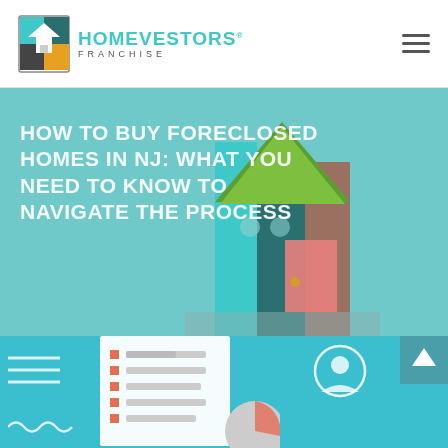[Figure (logo): HomeVestors Franchise logo with colorful house icon and teal brand name text]
HOW TO BUY FORECLOSED HOMES IN NJ: WHAT YOU NEED TO KNOW TO NAVIGATE THE PROCESS
[Figure (illustration): Stylized flat-design house illustration with teal, green, brown and pink color blocks overlaid on the hero section]
[Figure (illustration): Flat design illustration of a document/checklist with orange bullet points, a pie chart, a user profile icon, and decorative horizontal lines and wavy lines on a light blue background]